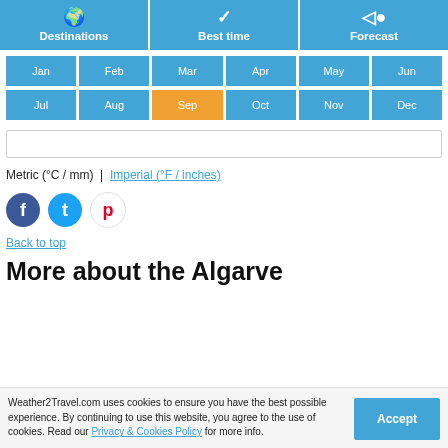[Figure (infographic): Three navigation buttons: Destinations (globe icon), Best time (checkmark icon), Forecast (arrow/eye icon), all in blue with white text]
[Figure (infographic): Month selector buttons: Jan, Feb, Mar, Apr, May, Jun (row 1) and Jul, Aug, Sep (orange/active), Oct, Nov, Dec (row 2), all blue except Sep which is orange]
[Figure (infographic): Empty search bar input field]
Metric (°C / mm)  |  Imperial (°F / inches)
[Figure (infographic): Social media icons: Facebook (dark blue circle), Twitter (light blue circle), Pinterest (white circle with red P)]
Back to top
More about the Algarve
Weather2Travel.com uses cookies to ensure you have the best possible experience. By continuing to use this website, you agree to the use of cookies. Read our Privacy & Cookies Policy for more info.